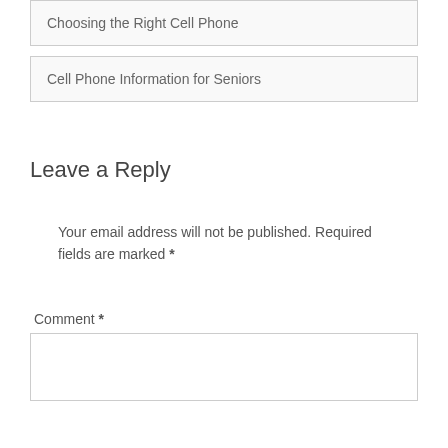Choosing the Right Cell Phone
Cell Phone Information for Seniors
Leave a Reply
Your email address will not be published. Required fields are marked *
Comment *